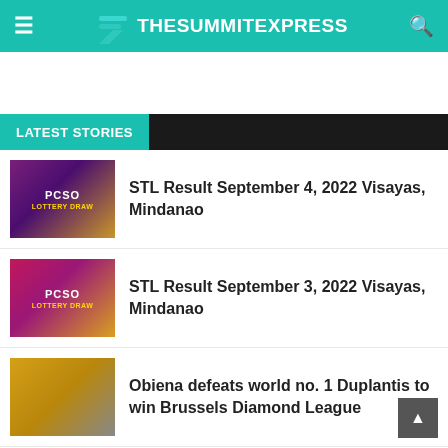TheSummitExpress
LATEST STORIES
STL Result September 4, 2022 Visayas, Mindanao
STL Result September 3, 2022 Visayas, Mindanao
Obiena defeats world no. 1 Duplantis to win Brussels Diamond League
PCSO Lotto Result September 2, 2022 6/55 6/42